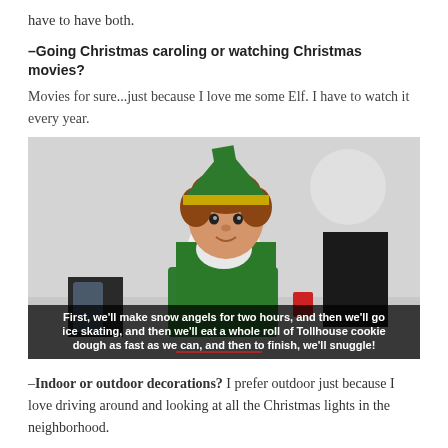have to have both.
–Going Christmas caroling or watching Christmas movies?
Movies for sure...just because I love me some Elf. I have to watch it every year.
[Figure (photo): Still from the movie Elf showing Will Ferrell in an elf costume with subtitle text: 'First, we'll make snow angels for two hours, and then we'll go ice skating, and then we'll eat a whole roll of Tollhouse cookie dough as fast as we can, and then to finish, we'll snuggle!']
–Indoor or outdoor decorations? I prefer outdoor just because I love driving around and looking at all the Christmas lights in the neighborhood.